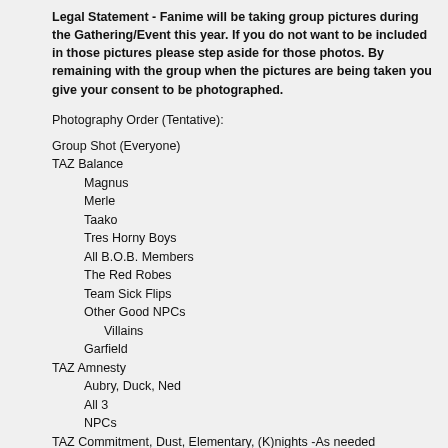Legal Statement - Fanime will be taking group pictures during the Gathering/Event this year. If you do not want to be included in those pictures please step aside for those photos. By remaining with the group when the pictures are being taken you give your consent to be photographed.
Photography Order (Tentative):
Group Shot (Everyone)
TAZ Balance
Magnus
Merle
Taako
Tres Horny Boys
All B.O.B. Members
The Red Robes
Team Sick Flips
Other Good NPCs
Villains
Garfield
TAZ Amnesty
Aubry, Duck, Ned
All 3
NPCs
TAZ Commitment, Dust, Elementary, (K)nights -As needed
Group Shot (Everyone)
Facebook Event Page:
https://www.facebook.com/events/1361486510659204/
EDIT 3/17/19: Hey guys just wanted to let you know that we've submitted the forms for the gathering. We'll update with any new